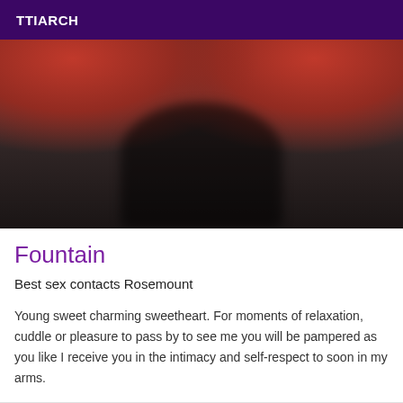TTIARCH
[Figure (photo): Close-up photo of orange roller skate wheels on a dark textured carpet/floor surface, with shadows visible below.]
Fountain
Best sex contacts Rosemount
Young sweet charming sweetheart. For moments of relaxation, cuddle or pleasure to pass by to see me you will be pampered as you like I receive you in the intimacy and self-respect to soon in my arms.
[Figure (photo): Partial photo visible at the bottom of the page.]